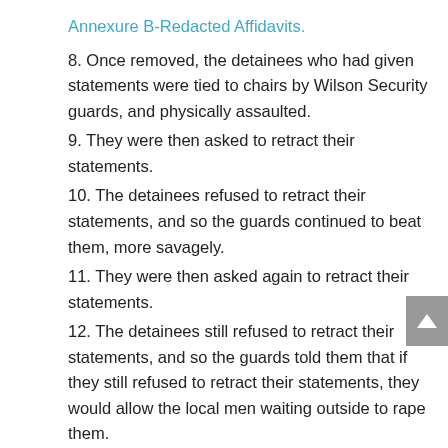Annexure B-Redacted Affidavits.
8. Once removed, the detainees who had given statements were tied to chairs by Wilson Security guards, and physically assaulted.
9. They were then asked to retract their statements.
10. The detainees refused to retract their statements, and so the guards continued to beat them, more savagely.
11. They were then asked again to retract their statements.
12. The detainees still refused to retract their statements, and so the guards told them that if they still refused to retract their statements, they would allow the local men waiting outside to rape them.
13. I don't know for sure whether or not the detainees retracted the statements.